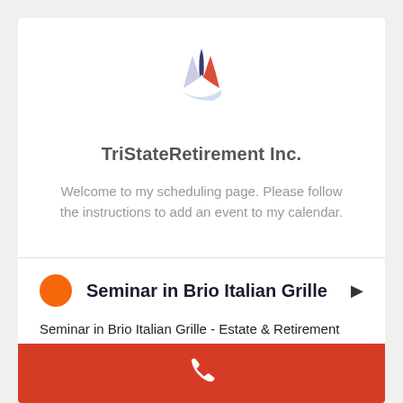[Figure (logo): TriStateRetirement Inc. logo: three curved ribbon shapes in red, dark blue, and light blue forming a triangular/person-like icon]
TriStateRetirement Inc.
Welcome to my scheduling page. Please follow the instructions to add an event to my calendar.
Seminar in Brio Italian Grille
Seminar in Brio Italian Grille - Estate & Retirement Planning Simplified.
[Figure (illustration): White phone/call icon on red background bar at bottom of page]